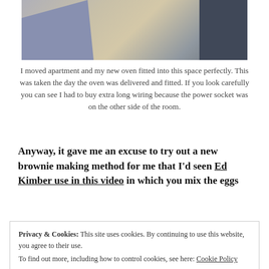[Figure (photo): Interior photo showing a floor area with two rugs (blue-grey on left, dark on right) and what appears to be a wall or appliance in the center background.]
I moved apartment and my new oven fitted into this space perfectly. This was taken the day the oven was delivered and fitted. If you look carefully you can see I had to buy extra long wiring because the power socket was on the other side of the room.
Anyway, it gave me an excuse to try out a new brownie making method for me that I'd seen Ed Kimber use in this video in which you mix the eggs
Privacy & Cookies: This site uses cookies. By continuing to use this website, you agree to their use.
To find out more, including how to control cookies, see here: Cookie Policy
consistency and crinkly top each time. It did. At the